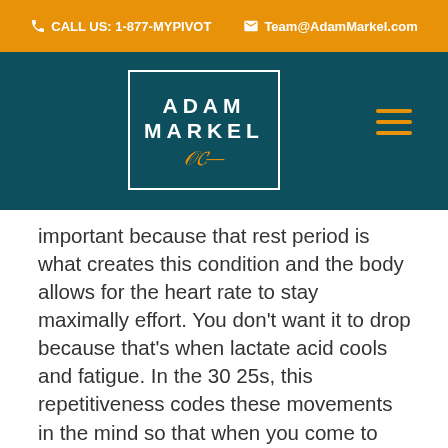CALL US: 1-877-MYPIVOT   Team@AdamMarkel.com
[Figure (logo): Adam Markel logo in white text inside a white border rectangle on dark teal background, with orange signature below the name]
important because that rest period is what creates this condition and the body allows for the heart rate to stay maximally effort. You don't want it to drop because that's when lactate acid cools and fatigue. In the 30 25s, this repetitiveness codes these movements in the mind so that when you come to race, it happens instinctually. You do the same for every stroke, every distance, 200s or 50s. It's an easy plug-and-play formula that it's almost impossible to screw